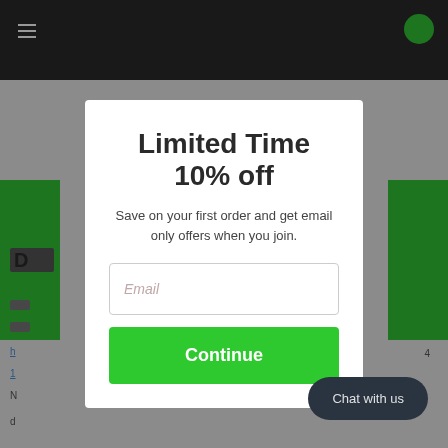[Figure (screenshot): Background website page with dark navigation bar, green sidebar strips, and partially visible content]
Limited Time
10% off
Save on your first order and get email only offers when you join.
Email
Continue
Chat with us